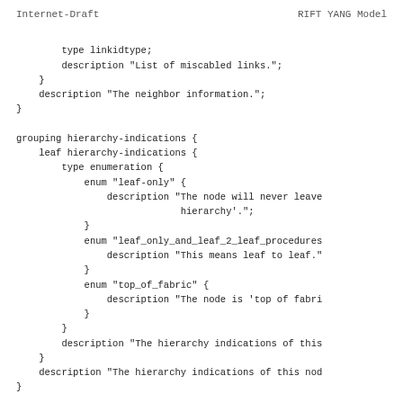Internet-Draft                    RIFT YANG Model
type linkidtype;
        description "List of miscabled links.";
    }
    description "The neighbor information.";
}

grouping hierarchy-indications {
    leaf hierarchy-indications {
        type enumeration {
            enum "leaf-only" {
                description "The node will never leave
                             hierarchy'.";
            }
            enum "leaf_only_and_leaf_2_leaf_procedures
                description "This means leaf to leaf."
            }
            enum "top_of_fabric" {
                description "The node is 'top of fabri
            }
        }
        description "The hierarchy indications of this
    }
    description "The hierarchy indications of this nod
}

grouping node {
    uses base-node-info;